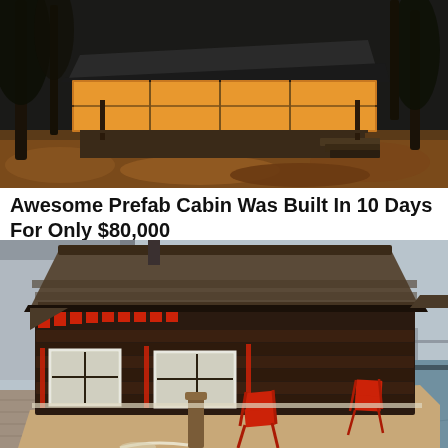[Figure (photo): Exterior photo of a modern prefab cabin at dusk/night with large glass windows glowing with warm interior light, surrounded by trees and autumn leaves on the ground. The cabin has a flat/angular roof and a wooden deck with stairs.]
Awesome Prefab Cabin Was Built In 10 Days For Only $80,000
[Figure (photo): Photo of a rustic wooden houseboat moored at a dock. The houseboat has dark wood shingle siding, a peaked roof, white-framed windows with grid panes, red accent trim pieces along the roofline, and red folding chairs on the deck. Water and a bridge are visible in the background.]